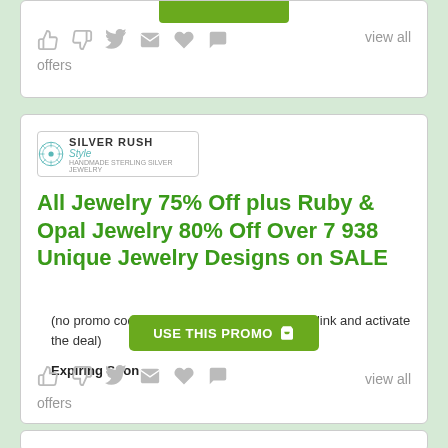[Figure (screenshot): Partial top coupon/offer card showing a green button at top and social icons with 'view all offers' text]
[Figure (logo): Silver Rush Style brand logo in a bordered box]
All Jewelry 75% Off plus Ruby & Opal Jewelry 80% Off Over 7 938 Unique Jewelry Designs on SALE
(no promo code is needed. click on the above link and activate the deal)
Expiring Soon
USE THIS PROMO 🛒
view all offers
view all offers